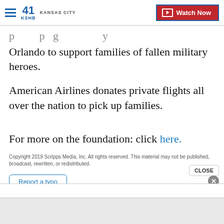KSHB 41 Kansas City | Watch Now
Orlando to support families of fallen military heroes.
American Airlines donates private flights all over the nation to pick up families.
For more on the foundation: click here.
Copyright 2019 Scripps Media, Inc. All rights reserved. This material may not be published, broadcast, rewritten, or redistributed.
Report a typo